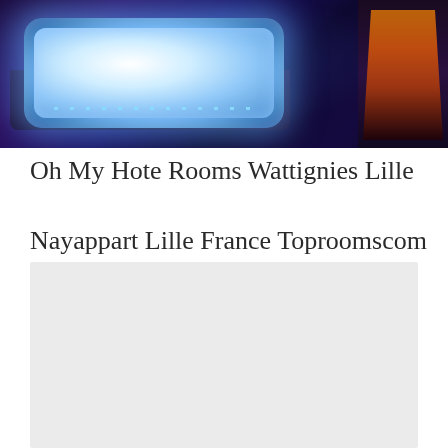[Figure (photo): Interior photo of a jacuzzi/hot tub with blue LED lighting in a dark room with decorative wall mural on the right side]
Oh My Hote Rooms Wattignies Lille
Nayappart Lille France Toproomscom
[Figure (photo): Light gray placeholder/loading image for Nayappart Lille France Toproomscom]